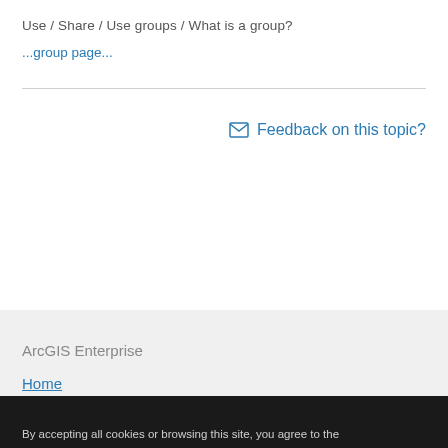Use / Share / Use groups / What is a group?
...group page...
✉ Feedback on this topic?
ArcGIS Enterprise
Home
By accepting all cookies or browsing this site, you agree to the